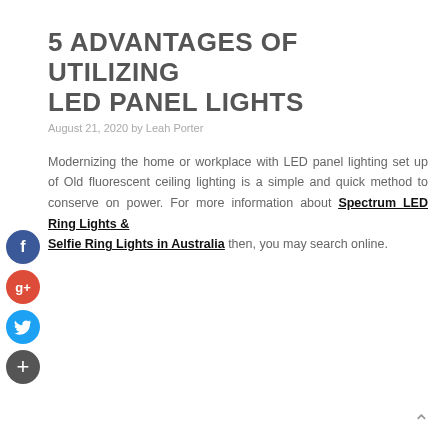5 ADVANTAGES OF UTILIZING LED PANEL LIGHTS
August 21, 2020 by Leah Porter
Modernizing the home or workplace with LED panel lighting set up of Old fluorescent ceiling lighting is a simple and quick method to conserve on power. For more information about Spectrum LED Ring Lights & Selfie Ring Lights in Australia then, you may search online.
[Figure (infographic): Social media sharing icons: Facebook (blue), Google+ (red), Twitter (light blue), Plus/share (grey), arranged vertically on the left side]
^